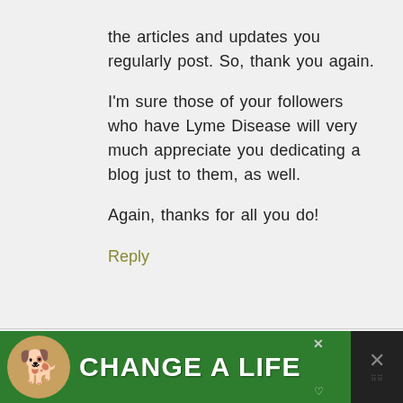the articles and updates you regularly post. So, thank you again.

I'm sure those of your followers who have Lyme Disease will very much appreciate you dedicating a blog just to them, as well.

Again, thanks for all you do!
Reply
[Figure (screenshot): Advertisement banner at the bottom of the page showing a dog and the text 'CHANGE A LIFE' on a green background with close buttons]